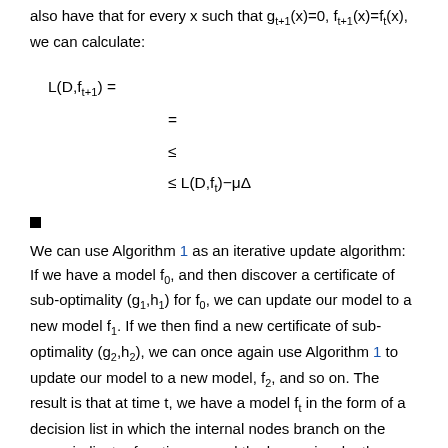also have that for every x such that g_{t+1}(x)=0, f_{t+1}(x)=f_t(x), we can calculate:
■
We can use Algorithm 1 as an iterative update algorithm: If we have a model f_0, and then discover a certificate of sub-optimality (g_1,h_1) for f_0, we can update our model to a new model f_1. If we then find a new certificate of sub-optimality (g_2,h_2), we can once again use Algorithm 1 to update our model to a new model, f_2, and so on. The result is that at time t, we have a model f_t in the form of a decision list in which the internal nodes branch on the group indicator functions g_i and the leaves invoke the models h_i or the initial model f_0. See Figure 1. Note that to evaluate such a decision list on a point x, although we might need to evaluate g_i(x) for every group indicator used to define the list, we only need to evaluate a single